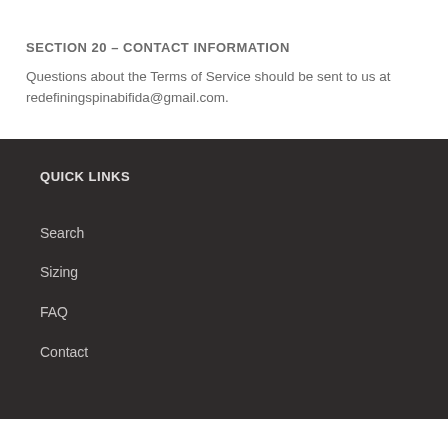SECTION 20 – CONTACT INFORMATION
Questions about the Terms of Service should be sent to us at redefiningspinabifida@gmail.com.
QUICK LINKS
Search
Sizing
FAQ
Contact